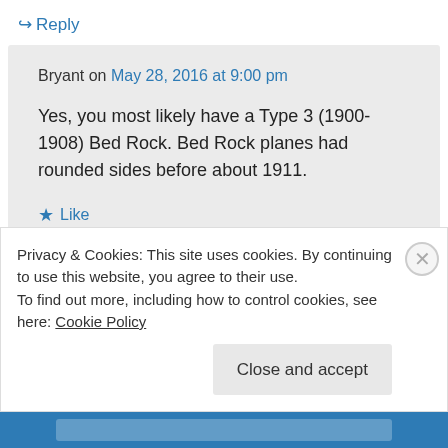↪ Reply
Bryant on May 28, 2016 at 9:00 pm
Yes, you most likely have a Type 3 (1900-1908) Bed Rock. Bed Rock planes had rounded sides before about 1911.
★ Like
↪ Reply
Privacy & Cookies: This site uses cookies. By continuing to use this website, you agree to their use.
To find out more, including how to control cookies, see here: Cookie Policy
Close and accept